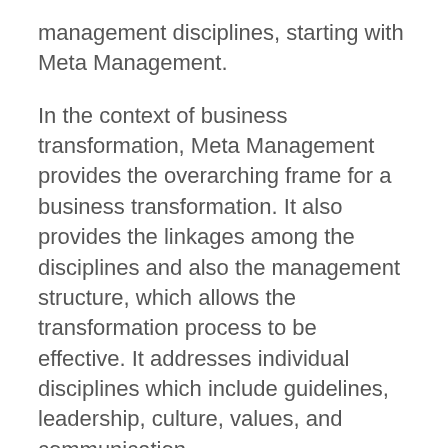management disciplines, starting with Meta Management.
In the context of business transformation, Meta Management provides the overarching frame for a business transformation. It also provides the linkages among the disciplines and also the management structure, which allows the transformation process to be effective. It addresses individual disciplines which include guidelines, leadership, culture, values, and communication.
Next is Strategy Management which primarily addresses the Envision phase of the transformation life-cycle, during which a strategy is developed. Strategy Development involves the selection of appropriate team